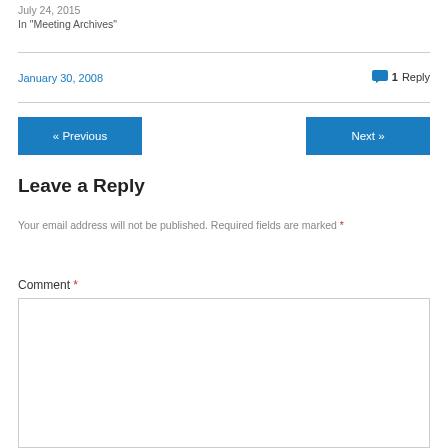July 24, 2015
In "Meeting Archives"
January 30, 2008
1 Reply
« Previous
Next »
Leave a Reply
Your email address will not be published. Required fields are marked *
Comment *